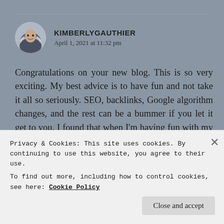[Figure (photo): Circular avatar photo of Kimberly Gauthier, a woman with a hooded jacket]
KIMBERLYGAUTHIER
April 1, 2021 at 11:32 pm
Congratulations on your new blog. This is so very exciting. My best advice is to have fun and not take it all so seriously. SEO, backlinks, Google algorithm changes, and the rest can be a bummer if you let it get to you. I found that when I’m having fun with my blog and my followers, the rest sorts itself out because none of it feels like a chore. But when I’m stressing out, it all feels hard and I have trouble
Privacy & Cookies: This site uses cookies. By continuing to use this website, you agree to their use.
To find out more, including how to control cookies, see here: Cookie Policy
Close and accept